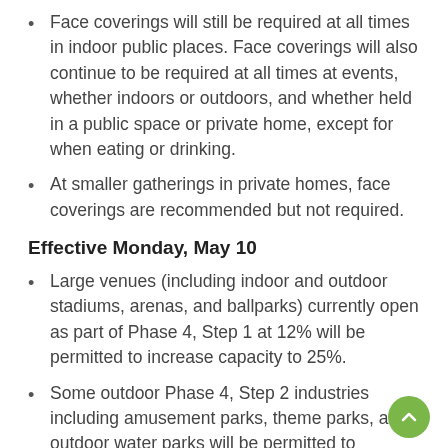Face coverings will still be required at all times in indoor public places. Face coverings will also continue to be required at all times at events, whether indoors or outdoors, and whether held in a public space or private home, except for when eating or drinking.
At smaller gatherings in private homes, face coverings are recommended but not required.
Effective Monday, May 10
Large venues (including indoor and outdoor stadiums, arenas, and ballparks) currently open as part of Phase 4, Step 1 at 12% will be permitted to increase capacity to 25%.
Some outdoor Phase 4, Step 2 industries including amusement parks, theme parks, and outdoor water parks will be permitted to